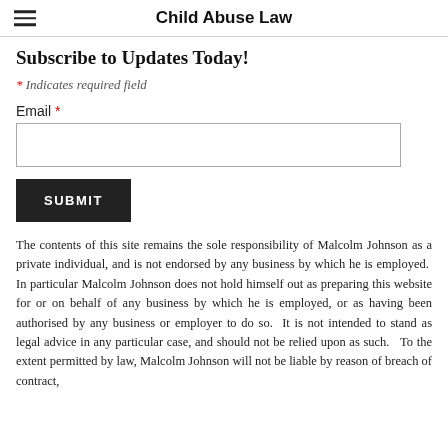Child Abuse Law
Subscribe to Updates Today!
* Indicates required field
Email *
SUBMIT
The contents of this site remains the sole responsibility of Malcolm Johnson as a private individual, and is not endorsed by any business by which he is employed.  In particular Malcolm Johnson does not hold himself out as preparing this website for or on behalf of any business by which he is employed, or as having been authorised by any business or employer to do so.  It is not intended to stand as legal advice in any particular case, and should not be relied upon as such.   To the extent permitted by law, Malcolm Johnson will not be liable by reason of breach of contract,